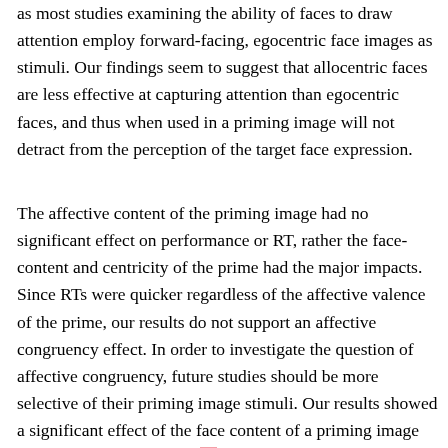as most studies examining the ability of faces to draw attention employ forward-facing, egocentric face images as stimuli. Our findings seem to suggest that allocentric faces are less effective at capturing attention than egocentric faces, and thus when used in a priming image will not detract from the perception of the target face expression.
The affective content of the priming image had no significant effect on performance or RT, rather the face-content and centricity of the prime had the major impacts. Since RTs were quicker regardless of the affective valence of the prime, our results do not support an affective congruency effect. In order to investigate the question of affective congruency, future studies should be more selective of their priming image stimuli. Our results showed a significant effect of the face content of a priming image and the image's centricity on either response time or accuracy. This finding has important implications for future subliminal affective priming experiments